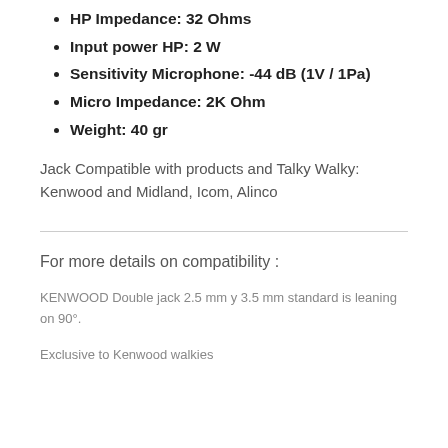HP Impedance: 32 Ohms
Input power HP: 2 W
Sensitivity Microphone: -44 dB (1V / 1Pa)
Micro Impedance: 2K Ohm
Weight: 40 gr
Jack Compatible with products and Talky Walky: Kenwood and Midland, Icom, Alinco
For more details on compatibility :
KENWOOD Double jack 2.5 mm y 3.5 mm standard is leaning on 90°.
Exclusive to Kenwood walkies